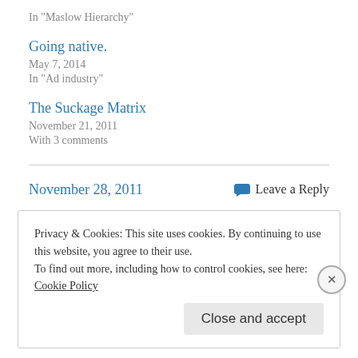In "Maslow Hierarchy"
Going native.
May 7, 2014
In "Ad industry"
The Suckage Matrix
November 21, 2011
With 3 comments
November 28, 2011
Leave a Reply
Privacy & Cookies: This site uses cookies. By continuing to use this website, you agree to their use.
To find out more, including how to control cookies, see here: Cookie Policy
Close and accept